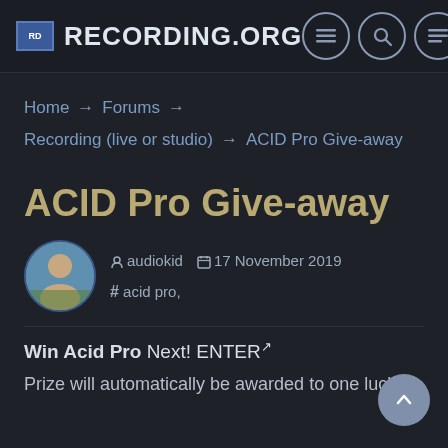Recording.org
Home → Forums → Recording (live or studio) → ACID Pro Give-away
ACID Pro Give-away
audiokid  17 November 2019  # acid pro,
Win Acid Pro Next! ENTER
Prize will automatically be awarded to one lucky